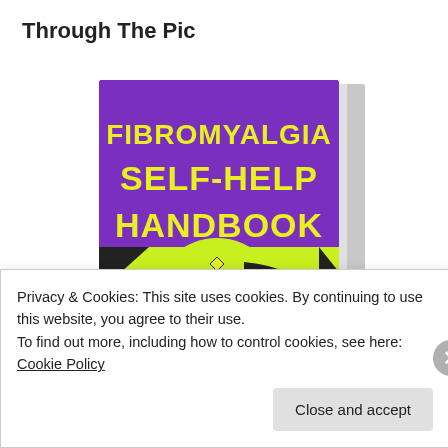Through The Pic
[Figure (photo): Book cover of 'Fibromyalgia Self-Help Handbook' with purple and yellow design showing a masked superhero face, subtitle 'How to Manage Fibromyalgia *Have Less Pain*']
Privacy & Cookies: This site uses cookies. By continuing to use this website, you agree to their use.
To find out more, including how to control cookies, see here: Cookie Policy
Close and accept